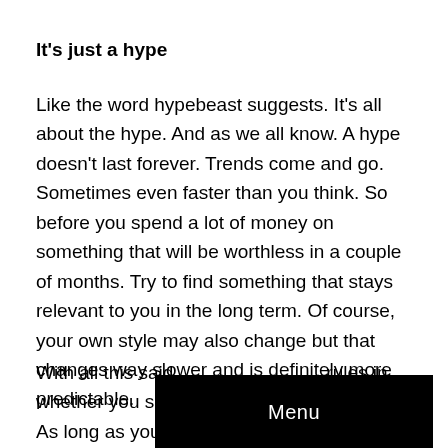It's just a hype
Like the word hypebeast suggests. It's all about the hype. And as we all know. A hype doesn't last forever. Trends come and go. Sometimes even faster than you think. So before you spend a lot of money on something that will be worthless in a couple of months. Try to find something that stays relevant to you in the long term. Of course, your own style may also change but that changes way slower and is definitely more predictable.
With all this said [obscured] rules in whether you should buy h[obscured]t. As long as you make sure you don't lose your own identity.
[Figure (other): Black menu overlay button with white 'Menu' text]